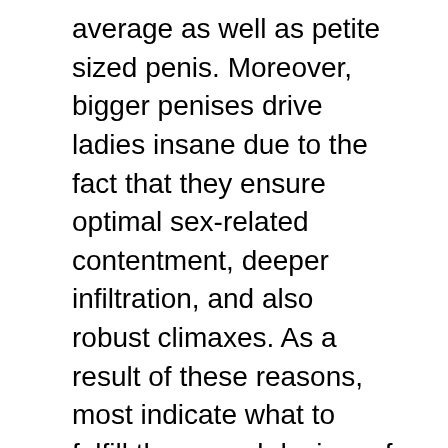average as well as petite sized penis. Moreover, bigger penises drive ladies insane due to the fact that they ensure optimal sex-related contentment, deeper infiltration, and also robust climaxes. As a result of these reasons, most indicate what to fulfill the sexual desires of their partners by looking for the most effective penis extenders
The pharmaceutical and publication market has actually been advising using workouts, supplements, as well as tablets, among lots of more techniques, to enhance the length as well as girth of the penile cells. It is not validated whether these methods supply impressive performance. In the past years' guys raised the size of their penis through penis enlargement surgical treatment or